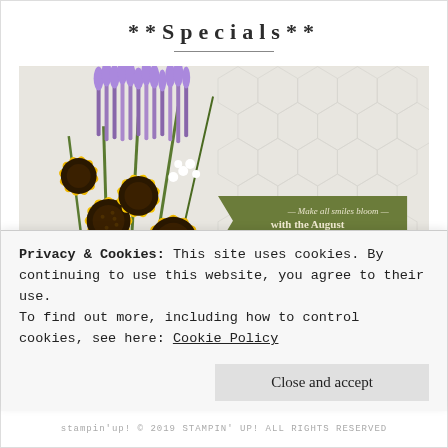**Specials**
[Figure (photo): A floral arrangement with large yellow sunflowers and purple lavender in a white container, next to a green banner reading 'Make all smiles bloom — with the August Paper Pumpkin Kit' and 'SUBSCRIBE TODAY'. Below is a product box with floral design. Background is a white hexagon tile wall.]
Privacy & Cookies: This site uses cookies. By continuing to use this website, you agree to their use.
To find out more, including how to control cookies, see here: Cookie Policy
Close and accept